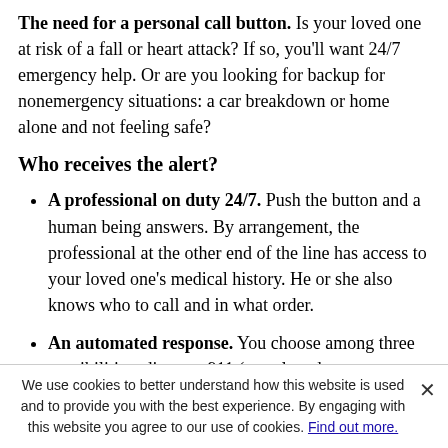The need for a personal call button. Is your loved one at risk of a fall or heart attack? If so, you'll want 24/7 emergency help. Or are you looking for backup for nonemergency situations: a car breakdown or home alone and not feeling safe?
Who receives the alert?
A professional on duty 24/7. Push the button and a human being answers. By arrangement, the professional at the other end of the line has access to your loved one's medical history. He or she also knows who to call and in what order.
An automated response. You choose among three possibilities: direct to 911 (your loved one may hesitate to push the button), direct to a pre... be automatically called in up. The answers; the system alerts 911).
We use cookies to better understand how this website is used and to provide you with the best experience. By engaging with this website you agree to our use of cookies. Find out more.